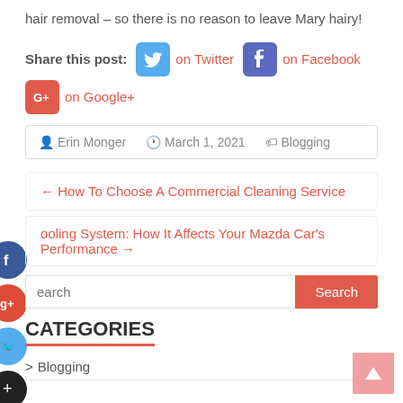hair removal – so there is no reason to leave Mary hairy!
Share this post: on Twitter on Facebook on Google+
Erin Monger   March 1, 2021   Blogging
← How To Choose A Commercial Cleaning Service
ooling System: How It Affects Your Mazda Car's Performance →
Search
CATEGORIES
Blogging